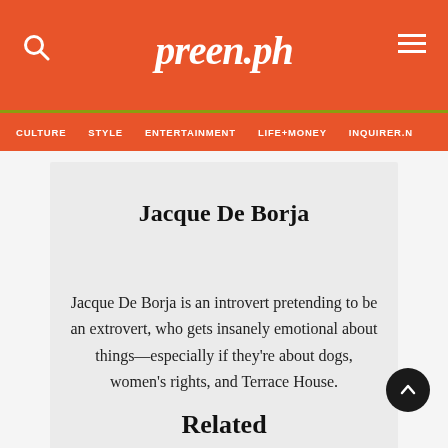preen.ph
CULTURE | STYLE | ENTERTAINMENT | LIFE+MONEY | INQUIRER.N
Jacque De Borja
Jacque De Borja is an introvert pretending to be an extrovert, who gets insanely emotional about things—especially if they're about dogs, women's rights, and Terrace House.
Related